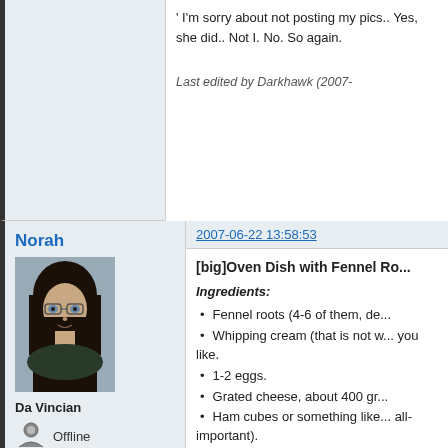I'm sorry about not posting my pics.. Yes, she did.. Not I. No. So again.
Last edited by Darkhawk (2007-...
Norah
2007-06-22 13:58:53
[Figure (photo): Avatar image of user Norah, a 3D rendered female character with dark hair and glasses]
Da Vincian
[Figure (illustration): Small offline status icon showing a grey person silhouette]
Offline
From: the Netherlands
Registered: 2006-10-09
Posts: 493
[big]Oven Dish with Fennel Ro...
Ingredients:
Fennel roots (4-6 of them, de...
Whipping cream (that is not w... you like.
1-2 eggs.
Grated cheese, about 400 gr...
Ham cubes or something like... all-important).
Black Pepper.
Nutmeg powder.
Curry powder.
Instructions:
Pre-heat the oven to about 200 c... Cut up the fennel roots into sma... mouth and chew without needin...